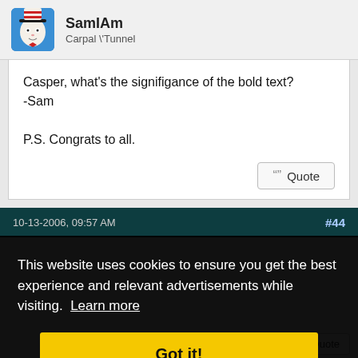[Figure (screenshot): Forum post from user SamIAm with avatar of Cat in the Hat character, username SamIAm, rank Carpal \'Tunnel]
Casper, what's the signifigance of the bold text?
-Sam

P.S. Congrats to all.
10-13-2006, 09:57 AM
#44
This website uses cookies to ensure you get the best experience and relevant advertisements while visiting. Learn more
Got it!